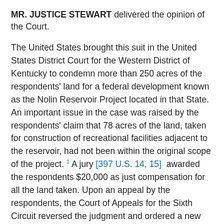MR. JUSTICE STEWART delivered the opinion of the Court.
The United States brought this suit in the United States District Court for the Western District of Kentucky to condemn more than 250 acres of the respondents' land for a federal development known as the Nolin Reservoir Project located in that State. An important issue in the case was raised by the respondents' claim that 78 acres of the land, taken for construction of recreational facilities adjacent to the reservoir, had not been within the original scope of the project. 1 A jury [397 U.S. 14, 15] awarded the respondents $20,000 as just compensation for all the land taken. Upon an appeal by the respondents, the Court of Appeals for the Sixth Circuit reversed the judgment and ordered a new trial, finding that the District Judge in his instructions to the jury had erroneously referred to matters disclosed outside the jury's presence. 2 The trial and appellate courts were in agreement, however, in rejecting the Government's